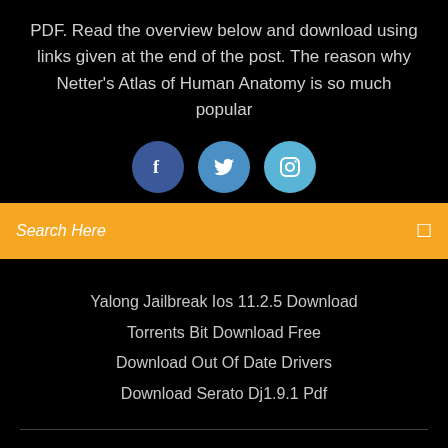PDF. Read the overview below and download using links given at the end of the post. The reason why Netter's Atlas of Human Anatomy is so much popular
[Figure (infographic): Three social media circular icon buttons: Facebook (dark blue), Twitter (medium blue), Instagram (light blue)]
Search Here
Yalong Jailbreak Ios 11.2.5 Download
Torrents Bit Download Free
Download Out Of Date Drivers
Download Serato Dj1.9.1 Pdf
Copyright ©2022 All rights reserved